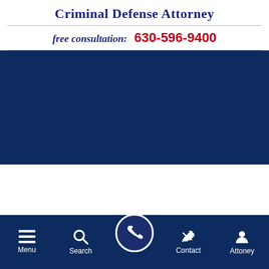Criminal Defense Attorney
free consultation: 630-596-9400
[Figure (screenshot): Dark navy blue banner navigation area]
[Figure (screenshot): White content area]
Menu | Search | [call button] | Contact | Attoney